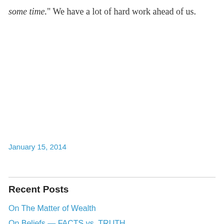some time." We have a lot of hard work ahead of us.
January 15, 2014
Recent Posts
On The Matter of Wealth
On Beliefs — FACTS vs. TRUTH